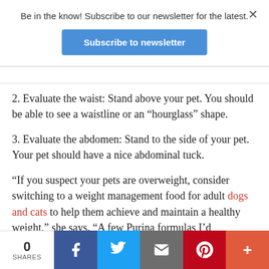Be in the know! Subscribe to our newsletter for the latest.
Subscribe to newsletter
2. Evaluate the waist: Stand above your pet. You should be able to see a waistline or an “hourglass” shape.
3. Evaluate the abdomen: Stand to the side of your pet. Your pet should have a nice abdominal tuck.
“If you suspect your pets are overweight, consider switching to a weight management food for adult dogs and cats to help them achieve and maintain a healthy weight,” she says. “A few Purina formulas I’d recommend include: Beneful Healthy Weight with Farm-Raised Chicken Dry Adult Dog Food, which
0 SHARES  f  Twitter  Email  Pinterest  +